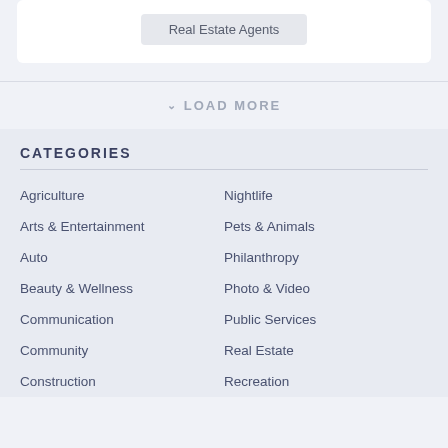Real Estate Agents
LOAD MORE
CATEGORIES
Agriculture
Nightlife
Arts & Entertainment
Pets & Animals
Auto
Philanthropy
Beauty & Wellness
Photo & Video
Communication
Public Services
Community
Real Estate
Construction
Recreation